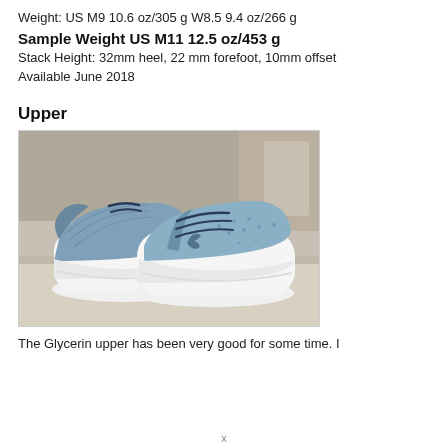Weight: US M9 10.6 oz/305 g W8.5 9.4 oz/266 g
Sample Weight US M11 12.5 oz/453 g
Stack Height: 32mm heel, 22 mm forefoot, 10mm offset
Available June 2018
Upper
[Figure (photo): Two blue Brooks Glycerin running shoes displayed on a stone surface, showing the upper construction and white midsole.]
The Glycerin upper has been very good for some time. I